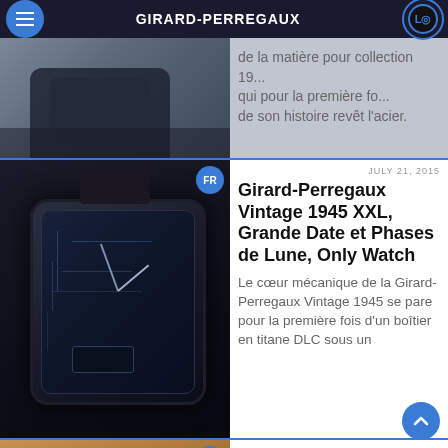GIRARD-PERREGAUX
[Figure (photo): Partial top article showing a watch with dark strap and text in French about a steel collection]
de la matière pour collection 19... qui pour la première fo... de son histoire revêt l'acier.
[Figure (photo): Close-up of Girard-Perregaux Vintage 1945 XXL watch with dark DLC titanium case and skeleton dial]
JULY 21, 2015
Girard-Perregaux Vintage 1945 XXL, Grande Date et Phases de Lune, Only Watch
Le cœur mécanique de la Girard-Perregaux Vintage 1945 se pare pour la première fois d'un boîtier en titane DLC sous un
[Figure (photo): Close-up of Girard-Perregaux Traveller Grande date watch with rose gold hands on dark dial]
JULY 01, 2015
Girard-Perregaux Traveller Grande date, Phases de lune et GMT
L'emblématique Traveller Grande date, Phases de lune et GMT d'ici là...